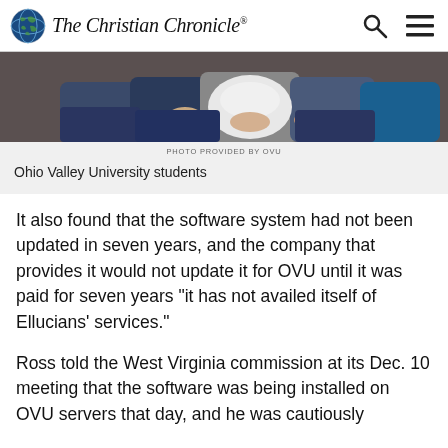The Christian Chronicle
[Figure (photo): Photo of Ohio Valley University students sitting together, cropped view showing torsos and laps, casual clothing]
PHOTO PROVIDED BY OVU
Ohio Valley University students
It also found that the software system had not been updated in seven years, and the company that provides it would not update it for OVU until it was paid for seven years “it has not availed itself of Ellucians’ services.”
Ross told the West Virginia commission at its Dec. 10 meeting that the software was being installed on OVU servers that day, and he was cautiously